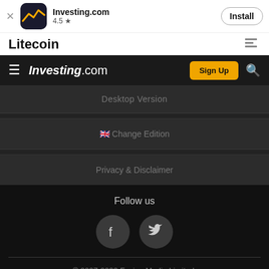[Figure (screenshot): Investing.com app install banner with logo icon, 4.5 star rating, and Install button]
Litecoin
[Figure (screenshot): Investing.com navigation bar with hamburger menu, logo, Sign Up button, and search icon]
Desktop Version
🇬🇧 Change Edition
Privacy & Disclaimer
Follow us
[Figure (illustration): Facebook and Twitter social media icon circles]
© 2007-2022 Fusion Media Limited.